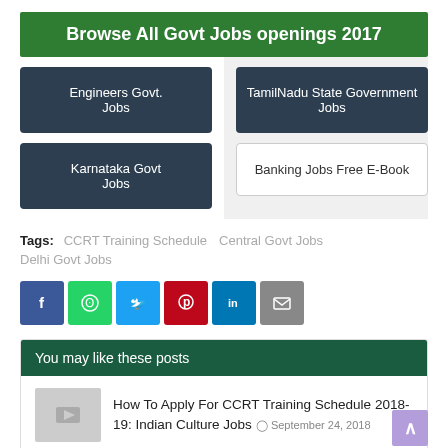Browse All Govt Jobs openings 2017
Engineers Govt. Jobs
TamilNadu State Government Jobs
Karnataka Govt Jobs
Banking Jobs Free E-Book
Tags:  CCRT Training Schedule   Central Govt Jobs   Delhi Govt Jobs
[Figure (infographic): Social sharing icons: Facebook (blue), WhatsApp (green), Twitter (light blue), Pinterest (red), LinkedIn (blue), Email (grey)]
You may like these posts
How To Apply For CCRT Training Schedule 2018-19: Indian Culture Jobs  September 24, 2018